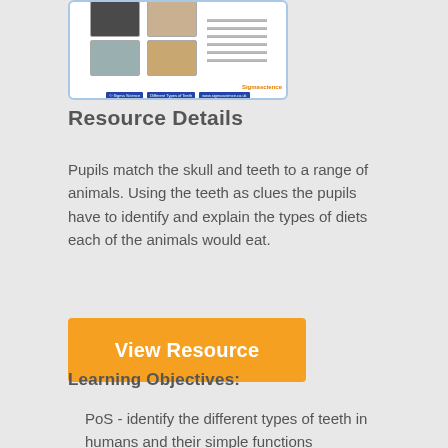[Figure (screenshot): Thumbnail screenshot of an educational worksheet showing animal photos (gorilla, dog, pigeon, skull) with dotted lines for answers, and a Sigma Science branding footer with blue navigation bar.]
Resource Details
Pupils match the skull and teeth to a range of animals. Using the teeth as clues the pupils have to identify and explain the types of diets each of the animals would eat.
View Resource
Learning Objectives:
PoS - identify the different types of teeth in humans and their simple functions